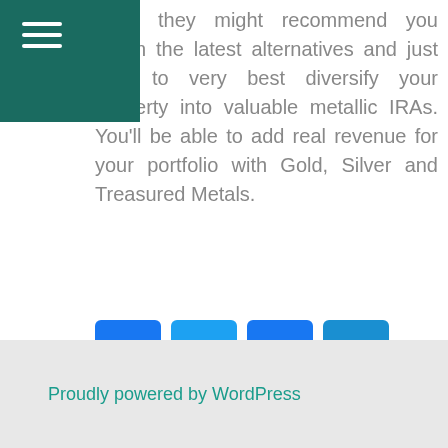tters, they might recommend you within the latest alternatives and just how to very best diversify your property into valuable metallic IRAs. You'll be able to add real revenue for your portfolio with Gold, Silver and Treasured Metals.
[Figure (other): Social sharing icons: Facebook (blue), Twitter (light blue), Email (blue), More/Plus (blue)]
Tagged invest in precious metals buy lead, precious metals invest 100, precious metals invest map Leave a comment
Proudly powered by WordPress